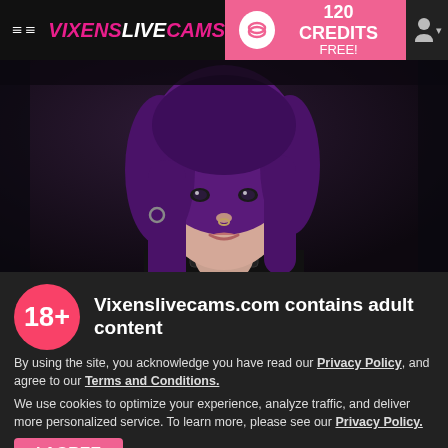VixensLiveCams — 120 CREDITS FREE!
[Figure (photo): Close-up photo of a person with purple hair, nose ring, and collar against a dark background]
Vixenslivecams.com contains adult content
By using the site, you acknowledge you have read our Privacy Policy, and agree to our Terms and Conditions.
We use cookies to optimize your experience, analyze traffic, and deliver more personalized service. To learn more, please see our Privacy Policy.
I AGREE
I am offline   Alana Rosse - I am offline